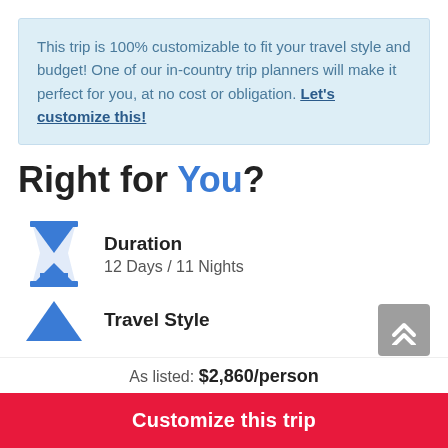This trip is 100% customizable to fit your travel style and budget! One of our in-country trip planners will make it perfect for you, at no cost or obligation. Let's customize this!
Right for You?
Duration
12 Days / 11 Nights
Travel Style
As listed: $2,860/person
Customize this trip